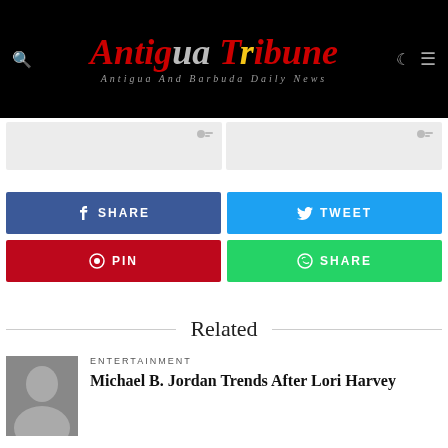Antigua Tribune — Antigua And Barbuda Daily News
[Figure (screenshot): Two small article preview boxes with comment icons]
[Figure (infographic): Social share buttons: Facebook SHARE, Twitter TWEET, Pinterest PIN, WhatsApp SHARE]
Related
[Figure (photo): Thumbnail photo of a person for a related article]
ENTERTAINMENT
Michael B. Jordan Trends After Lori Harvey